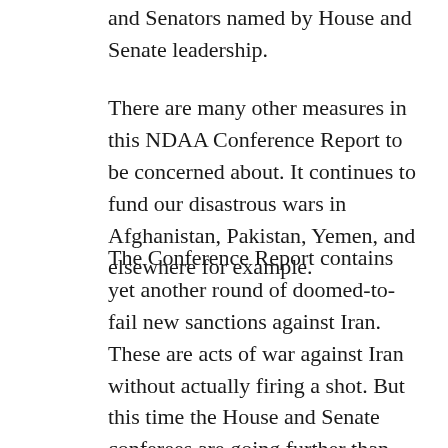and Senators named by House and Senate leadership.
There are many other measures in this NDAA Conference Report to be concerned about. It continues to fund our disastrous wars in Afghanistan, Pakistan, Yemen, and elsewhere for example.
The Conference Report contains yet another round of doomed-to-fail new sanctions against Iran. These are acts of war against Iran without actually firing a shot. But this time the House and Senate conferees are going further than that. The report contains language that pushes the US as close to an actual authorization for the use of force against Iran as we can get. The Report “…asserts that the U.S. should be prepared to take all necessary measures, including military action if required, to prevent Iran from threatening the U.S., its allies, or Iran’s neighbors with a nuclear weapon and reinforces the military option should it prove necessary.”